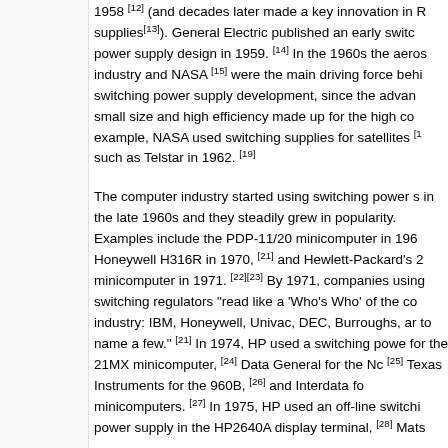1958 [12] (and decades later made a key innovation in power supplies [13]). General Electric published an early switching power supply design in 1959. [14] In the 1960s the aerospace industry and NASA [15] were the main driving force behind switching power supply development, since the advantages of small size and high efficiency made up for the high cost. For example, NASA used switching supplies for satellites [1...] such as Telstar in 1962. [19]
The computer industry started using switching power supplies in the late 1960s and they steadily grew in popularity. Examples include the PDP-11/20 minicomputer in 1969, the Honeywell H316R in 1970, [21] and Hewlett-Packard's 21MX minicomputer in 1971. [22][23] By 1971, companies using switching regulators "read like a 'Who's Who' of the computer industry: IBM, Honeywell, Univac, DEC, Burroughs, and others to name a few." [21] In 1974, HP used a switching power supply for the 21MX minicomputer, [24] Data General for the Nova, [25] Texas Instruments for the 960B, [26] and Interdata for their minicomputers. [27] In 1975, HP used an off-line switching power supply in the HP2640A display terminal, [28] Mats...